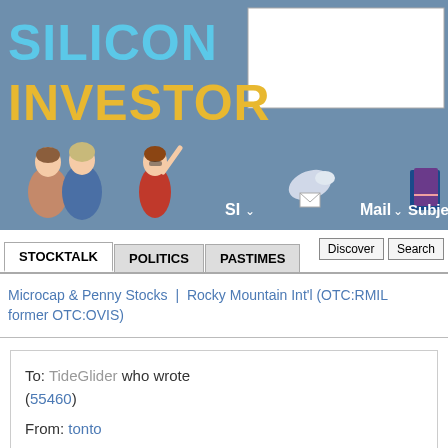[Figure (screenshot): Silicon Investor website header banner with blue background, showing 'SILICON INVESTOR' logo in cyan and gold, a white search box top right, illustrated characters, and navigation links for SI, Mail, SubjectM]
STOCKTALK | POLITICS | PASTIMES
Microcap & Penny Stocks | Rocky Mountain Int'l (OTC:RMIL former OTC:OVIS)
To: TideGlider who wrote (55460)
From: tonto